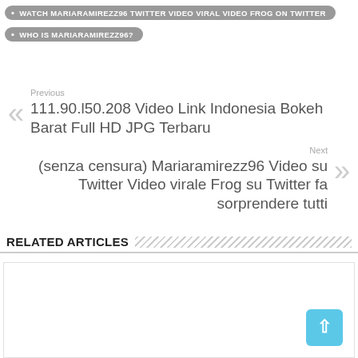WATCH MARIARAMIREZZ96 TWITTER VIDEO VIRAL VIDEO FROG ON TWITTER
WHO IS MARIARAMIREZZ96?
Previous
111.90.l50.208 Video Link Indonesia Bokeh Barat Full HD JPG Terbaru
Next
(senza censura) Mariaramirezz96 Video su Twitter Video virale Frog su Twitter fa sorprendere tutti
RELATED ARTICLES
[Figure (other): Empty white content area below Related Articles section with a light blue back-to-top button in the bottom right corner]